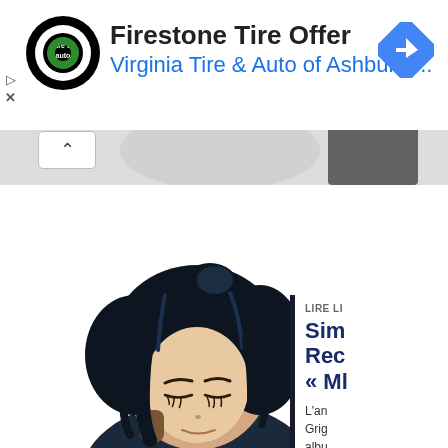[Figure (screenshot): Advertisement banner: Firestone Tire Offer from Virginia Tire & Auto of Ashburn with logo and blue navigation icon]
Firestone Tire Offer
Virginia Tire & Auto of Ashburn ...
[Figure (illustration): Anime-style illustration of a woman with dark hair in a bun, eyes closed, against a gray background with abstract shapes. A sidebar panel shows 'LIRE LI...' heading, partial title 'Sim Rec « Ml' and partial text 'L'an Grig albu 1...']